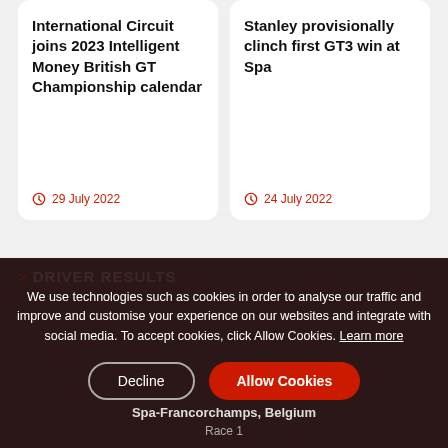International Circuit joins 2023 Intelligent Money British GT Championship calendar
29 July 2022
Stanley provisionally clinch first GT3 win at Spa
24 July 2022
DRIVER RESULTS
We use technologies such as cookies in order to analyse our traffic and improve and customise your experience on our websites and integrate with social media. To accept cookies, click Allow Cookies. Learn more
Spa-Francorchamps, Belgium
Race 1